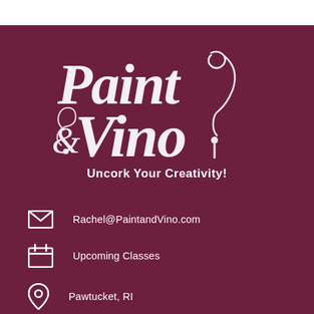[Figure (logo): Paint & Vino decorative script logo with musical note and wine glass elements, white on dark maroon background]
Uncork Your Creativity!
Rachel@PaintandVino.com
Upcoming Classes
Pawtucket, RI